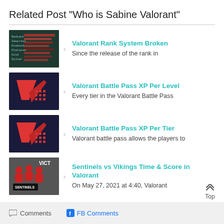Related Post "Who is Sabine Valorant"
Valorant Rank System Broken | Since the release of the rank in
Valorant Battle Pass XP Per Level | Every tier in the Valorant Battle Pass
Valorant Battle Pass XP Per Tier | Valorant battle pass allows the players to
Sentinels vs Vikings Time & Score in Valorant | On May 27, 2021 at 4:40, Valorant
Comments
FB Comments
Top